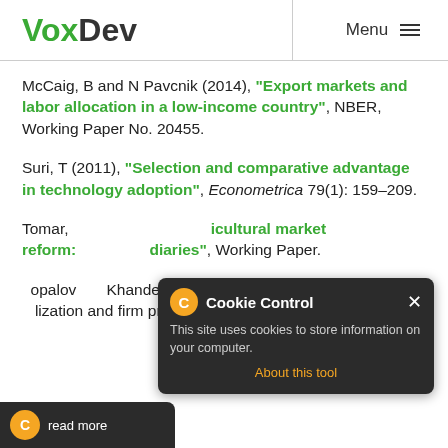VoxDev — Menu / Search
McCaig, B and N Pavcnik (2014), "Export markets and labor allocation in a low-income country", NBER, Working Paper No. 20455.
Suri, T (2011), "Selection and comparative advantage in technology adoption", Econometrica 79(1): 159–209.
Tomar, (2018), "Gains from agricultural market reform: Role and size of intermediaries", Working Paper.
opalov and Khandelwal (forthcoming), "Trade lization and firm productivity: The case of India"